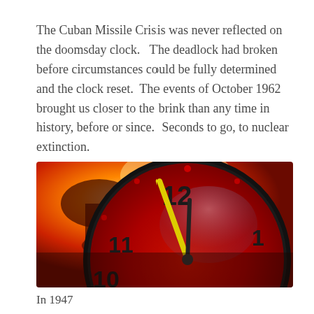The Cuban Missile Crisis was never reflected on the doomsday clock.  The deadlock had broken before circumstances could be fully determined and the clock reset.  The events of October 1962 brought us closer to the brink than any time in history, before or since.  Seconds to go, to nuclear extinction.
[Figure (photo): A dramatic close-up of a doomsday clock face with hands near midnight, showing numbers 10, 11, 12, and 1. The clock face is red/orange tinted with a dark rim, and the background shows a fiery orange sky with a mushroom cloud silhouette. The minute hand is yellow, and there are small red dots marking the hours.]
In 1947